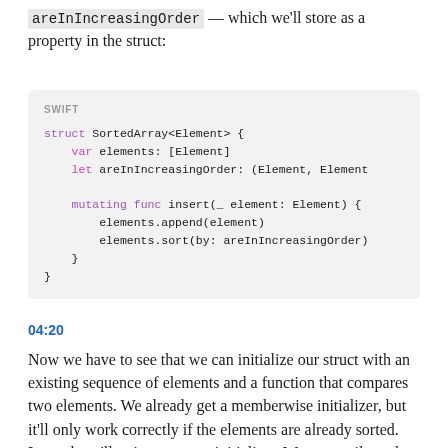areInIncreasingOrder — which we'll store as a property in the struct:
[Figure (screenshot): Swift code block showing a SortedArray struct with elements property, areInIncreasingOrder let property, and a mutating insert function that appends and sorts elements.]
04:20
Now we have to see that we can initialize our struct with an existing sequence of elements and a function that compares two elements. We already get a memberwise initializer, but it'll only work correctly if the elements are already sorted. Instead, we'll write a custom initializer. We can easily make our initializer work with a sequence by